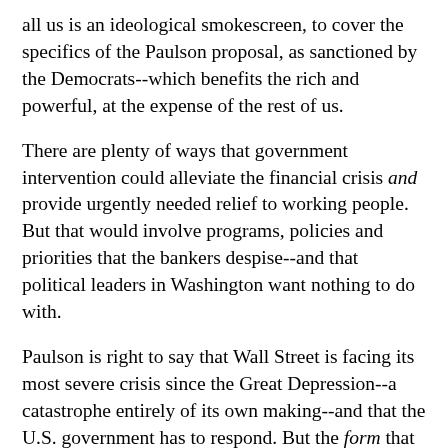all us is an ideological smokescreen, to cover the specifics of the Paulson proposal, as sanctioned by the Democrats--which benefits the rich and powerful, at the expense of the rest of us.
There are plenty of ways that government intervention could alleviate the financial crisis and provide urgently needed relief to working people. But that would involve programs, policies and priorities that the bankers despise--and that political leaders in Washington want nothing to do with.
Paulson is right to say that Wall Street is facing its most severe crisis since the Great Depression--a catastrophe entirely of its own making--and that the U.S. government has to respond. But the form that response takes--a huge handout for the super-rich or a progressive plan to rein in the banks and help ordinary people--depends on whether workers organize to make their voices heard and felt in Washington.